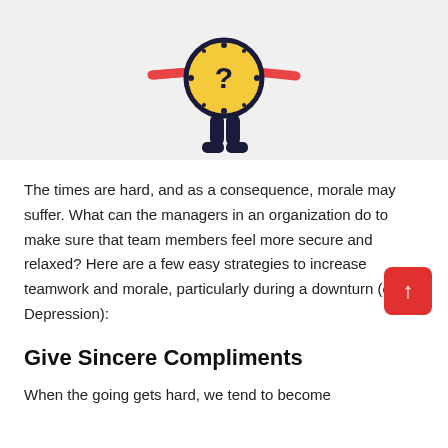[Figure (illustration): Cartoon illustration of a confused character with a yellow clock-like head showing a question mark, dark navy legs, and red arms outstretched, on a light gray background]
The times are hard, and as a consequence, morale may suffer. What can the managers in an organization do to make sure that team members feel more secure and relaxed? Here are a few easy strategies to increase teamwork and morale, particularly during a downturn (or Depression):
Give Sincere Compliments
When the going gets hard, we tend to become